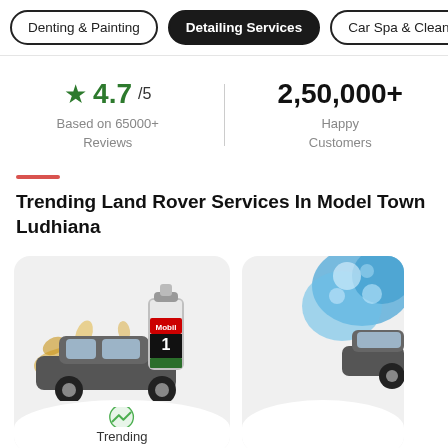Denting & Painting | Detailing Services | Car Spa & Cleaning
★ 4.7/5 Based on 65000+ Reviews
2,50,000+ Happy Customers
Trending Land Rover Services In Model Town Ludhiana
[Figure (illustration): Service card showing a car with Mobil 1 oil bottle splash illustration with a Trending badge and green trending arrow]
[Figure (illustration): Partial service card showing a car wash with blue soapy foam/sponge]